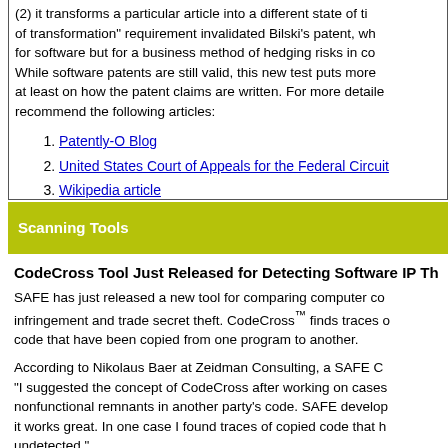(2) it transforms a particular article into a different state of the... of transformation" requirement invalidated Bilski's patent, wh... for software but for a business method of hedging risks in com... While software patents are still valid, this new test puts more ... at least on how the patent claims are written. For more detaile... recommend the following articles:
1. Patently-O Blog
2. United States Court of Appeals for the Federal Circuit
3. Wikipedia article
Scanning Tools
CodeCross Tool Just Released for Detecting Software IP Th...
SAFE has just released a new tool for comparing computer co... infringement and trade secret theft. CodeCross™ finds traces o... code that have been copied from one program to another.
According to Nikolaus Baer at Zeidman Consulting, a SAFE C... "I suggested the concept of CodeCross after working on cases... nonfunctional remnants in another party's code. SAFE develop... it works great. In one case I found traces of copied code that h... undetected."